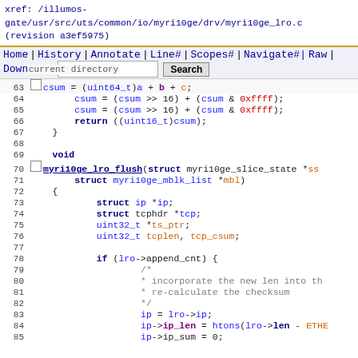xref: /illumos-gate/usr/src/uts/common/io/myri10ge/drv/myri10ge_lro.c (revision a3ef5975)
Home | History | Annotate | Line# | Scopes# | Navigate# | Raw | Download   Search
current directory
[Figure (screenshot): Source code viewer showing C code for myri10ge_lro.c, lines 63-85, including myri10ge_lro_flush function definition with checksum computation and struct declarations]